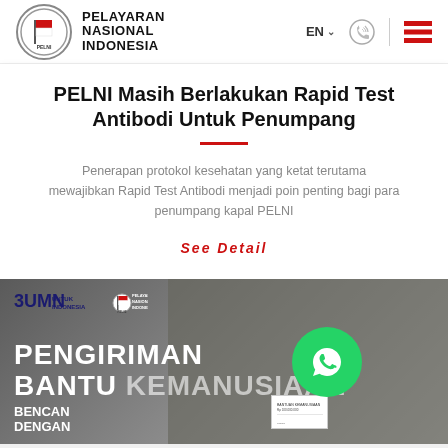[Figure (logo): PELNI (Pelayaran Nasional Indonesia) logo with circle and flag icon, followed by company name text]
PELNI Masih Berlakukan Rapid Test Antibodi Untuk Penumpang
Penerapan protokol kesehatan yang ketat terutama mewajibkan Rapid Test Antibodi menjadi poin penting bagi para penumpang kapal PELNI
See Detail
[Figure (photo): Photo showing people in masks at a PELNI event with text overlay: PENGIRIMAN BANTUAN KEMANUSIAAN BENCANA DENGAN. Logos of BUMN and PELNI visible. WhatsApp button overlay on right side.]